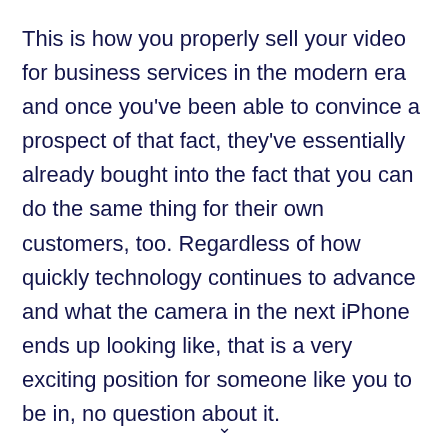This is how you properly sell your video for business services in the modern era and once you've been able to convince a prospect of that fact, they've essentially already bought into the fact that you can do the same thing for their own customers, too. Regardless of how quickly technology continues to advance and what the camera in the next iPhone ends up looking like, that is a very exciting position for someone like you to be in, no question about it.